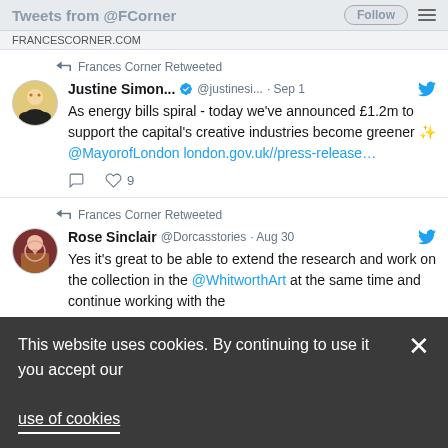Tweets from @FCorner | FRANCESCORNER.COM
Frances Corner Retweeted
Justine Simon... @justinesi... · Sep 1 — As energy bills spiral - today we've announced £1.2m to support the capital's creative industries become greener ✨ @MayorofLondon london.gov.uk//press-release…
Frances Corner Retweeted
Rose Sinclair @Dorcasstories · Aug 30 — Yes it's great to be able to extend the research and work on the collection in the @WhitworthArt at the same time and continue working with the
This website uses cookies. By continuing to use it you accept our use of cookies